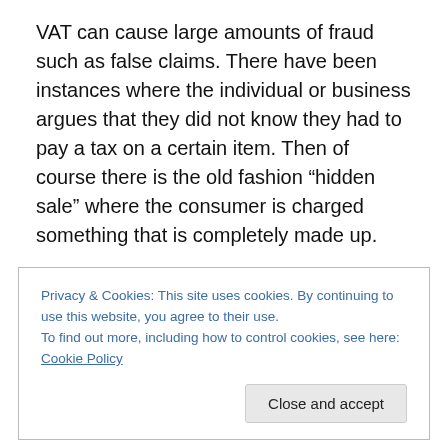VAT can cause large amounts of fraud such as false claims. There have been instances where the individual or business argues that they did not know they had to pay a tax on a certain item. Then of course there is the old fashion “hidden sale” where the consumer is charged something that is completely made up.
Despite those concerns, studies show that if a 5% VAT was implemented, and covered 80% of goods people consume, it could generate roughly $260 billion. The Virginia Tax Review estimates that a VAT of 25% could
Privacy & Cookies: This site uses cookies. By continuing to use this website, you agree to their use.
To find out more, including how to control cookies, see here: Cookie Policy